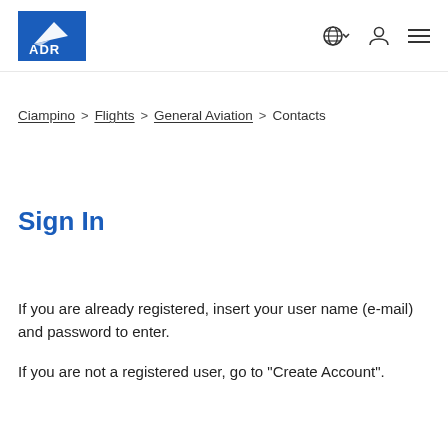[Figure (logo): ADR logo — white text and airplane graphic on blue background]
Ciampino > Flights > General Aviation > Contacts
Sign In
If you are already registered, insert your user name (e-mail) and password to enter.
If you are not a registered user, go to "Create Account".